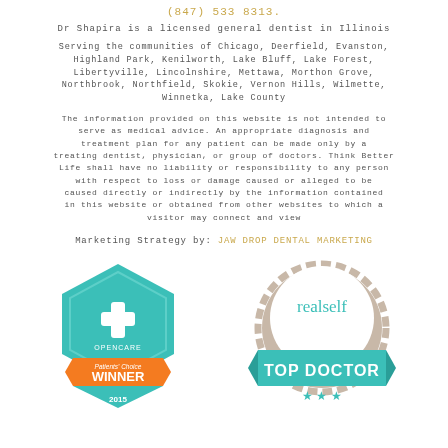(847) 533 8313.
Dr Shapira is a licensed general dentist in Illinois
Serving the communities of Chicago, Deerfield, Evanston, Highland Park, Kenilworth, Lake Bluff, Lake Forest, Libertyville, Lincolnshire, Mettawa, Morthon Grove, Northbrook, Northfield, Skokie, Vernon Hills, Wilmette, Winnetka, Lake County
The information provided on this website is not intended to serve as medical advice. An appropriate diagnosis and treatment plan for any patient can be made only by a treating dentist, physician, or group of doctors. Think Better Life shall have no liability or responsibility to any person with respect to loss or damage caused or alleged to be caused directly or indirectly by the information contained in this website or obtained from other websites to which a visitor may connect and view
Marketing Strategy by: JAW DROP DENTAL MARKETING
[Figure (logo): Opencare Patients' Choice WINNER 2015 badge with teal hexagonal shape and orange ribbon banner]
[Figure (logo): RealSelf Top Doctor badge with silver gear/seal shape, teal banner and stars at the bottom]